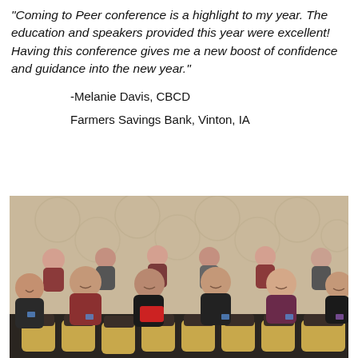"Coming to Peer conference is a highlight to my year. The education and speakers provided this year were excellent!  Having this conference gives me a new boost of confidence and guidance into the new year."
-Melanie Davis, CBCD
Farmers Savings Bank, Vinton, IA
[Figure (photo): Group photo of women seated in conference chairs in a hotel ballroom with patterned wallpaper, smiling at the camera]